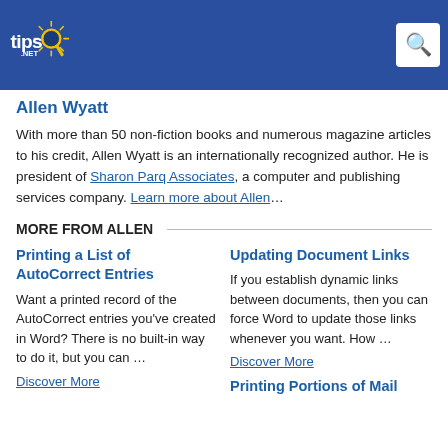[Figure (logo): tips.NET logo with sun and magnifier on blue header bar, with search icon]
Allen Wyatt
With more than 50 non-fiction books and numerous magazine articles to his credit, Allen Wyatt is an internationally recognized author. He is president of Sharon Parq Associates, a computer and publishing services company. Learn more about Allen…
MORE FROM ALLEN
Printing a List of AutoCorrect Entries
Want a printed record of the AutoCorrect entries you've created in Word? There is no built-in way to do it, but you can …
Discover More
Updating Document Links
If you establish dynamic links between documents, then you can force Word to update those links whenever you want. How …
Discover More
Printing Portions of Mail